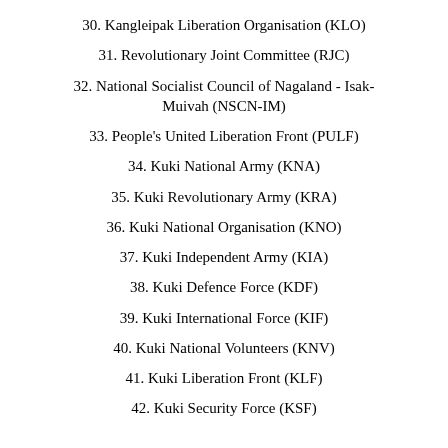30. Kangleipak Liberation Organisation (KLO)
31. Revolutionary Joint Committee (RJC)
32. National Socialist Council of Nagaland - Isak-Muivah (NSCN-IM)
33. People's United Liberation Front (PULF)
34. Kuki National Army (KNA)
35. Kuki Revolutionary Army (KRA)
36. Kuki National Organisation (KNO)
37. Kuki Independent Army (KIA)
38. Kuki Defence Force (KDF)
39. Kuki International Force (KIF)
40. Kuki National Volunteers (KNV)
41. Kuki Liberation Front (KLF)
42. Kuki Security Force (KSF)